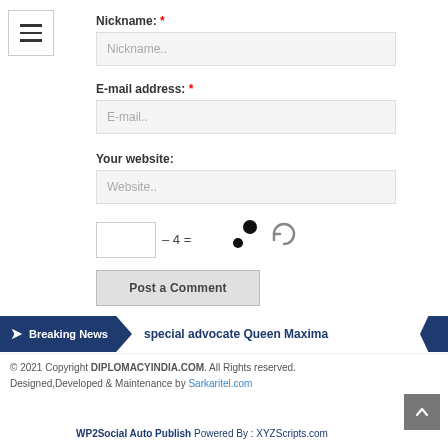Nickname: *
Nickname..
E-mail address: *
E-mail..
Your website:
Website..
– 4 =
Post a Comment
Breaking News  special advocate Queen Maxima
© 2021 Copyright DIPLOMACYINDIA.COM. All Rights reserved. Designed,Developed & Maintenance by Sarkaritel.com
WP2Social Auto Publish Powered By : XYZScripts.com